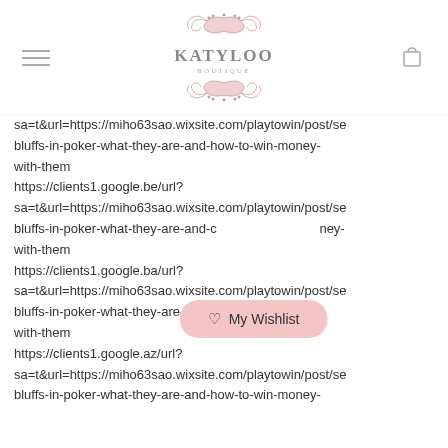[Figure (logo): Katyloo Boutique logo with decorative floral/scroll design in pink and grey]
sa=t&url=https://miho63sao.wixsite.com/playtowin/post/se bluffs-in-poker-what-they-are-and-how-to-win-money-with-them https://clients1.google.be/url? sa=t&url=https://miho63sao.wixsite.com/playtowin/post/se bluffs-in-poker-what-they-are-and-how-to-win-money-with-them https://clients1.google.ba/url? sa=t&url=https://miho63sao.wixsite.com/playtowin/post/se bluffs-in-poker-what-they-are-and-how-to-win-money-with-them https://clients1.google.az/url? sa=t&url=https://miho63sao.wixsite.com/playtowin/post/se bluffs-in-poker-what-they-are-and-how-to-win-money-
My Wishlist